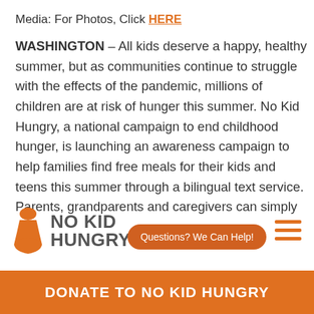Media: For Photos, Click HERE
WASHINGTON – All kids deserve a happy, healthy summer, but as communities continue to struggle with the effects of the pandemic, millions of children are at risk of hunger this summer. No Kid Hungry, a national campaign to end childhood hunger, is launching an awareness campaign to help families find free meals for their kids and teens this summer through a bilingual text service. Parents, grandparents and caregivers can simply
[Figure (logo): No Kid Hungry logo with orange hourglass/person icon and gray bold text NO KID HUNGRY]
Questions? We Can Help!
DONATE TO NO KID HUNGRY